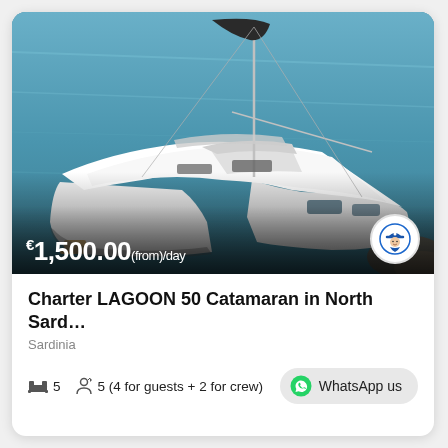[Figure (photo): Aerial view of a white Lagoon 50 catamaran sailing yacht on blue-green water near rocky coastline, viewed from above and behind. The yacht has twin hulls, a large deck with lounge area, cockpit, and sailing masts.]
€1,500.00(from)/day
Charter LAGOON 50 Catamaran in North Sard…
Sardinia
5   5 (4 for guests + 2 for crew)   WhatsApp us